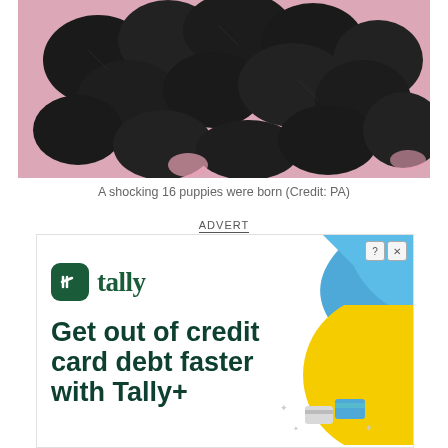[Figure (photo): Multiple black puppies clustered together on a pink textured blanket, photographed from above]
A shocking 16 puppies were born (Credit: PA)
ADVERT
[Figure (other): Tally advertisement. Shows the Tally logo (dark green square icon with white tally marks, and the word 'tally' in dark green), blue and yellow decorative shapes in top right corner, and large dark green text reading 'Get out of credit card debt faster with Tally+'. Small credit card icons in bottom right.]